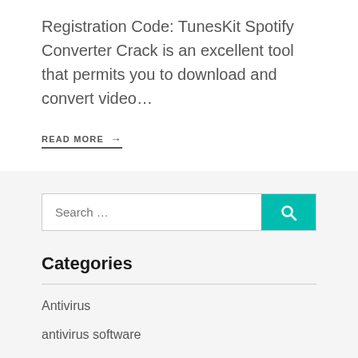Registration Code: TunesKit Spotify Converter Crack is an excellent tool that permits you to download and convert video…
READ MORE →
[Figure (other): Search bar with teal search button containing a magnifying glass icon]
Categories
Antivirus
antivirus software
audio plugins